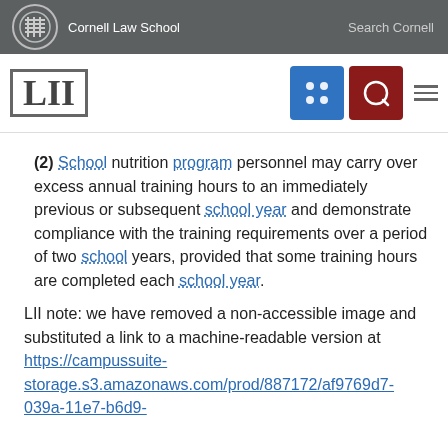Cornell Law School  |  Search Cornell
[Figure (logo): LII Legal Information Institute logo with Cornell Law School header navigation bar including blue grid icon and red search icon]
(2) School nutrition program personnel may carry over excess annual training hours to an immediately previous or subsequent school year and demonstrate compliance with the training requirements over a period of two school years, provided that some training hours are completed each school year.
LII note: we have removed a non-accessible image and substituted a link to a machine-readable version at https://campussuite-storage.s3.amazonaws.com/prod/887172/af9769d7-039a-11e7-b6d9-